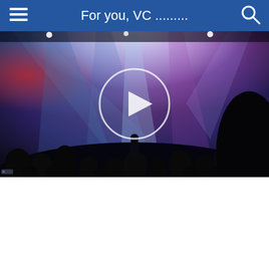For you, VC .........
[Figure (photo): Concert scene with colorful stage lights (blue, purple, red) shining over a crowd of silhouetted audience members. A performer is visible on stage. A circular play button overlay is centered on the image.]